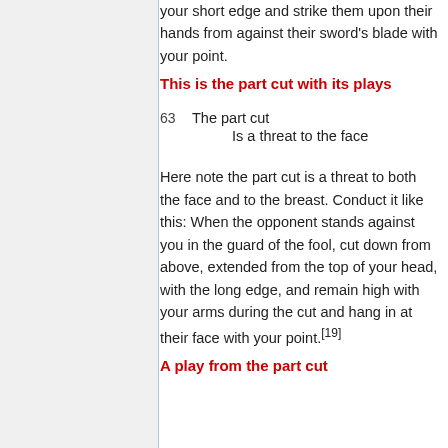your short edge and strike them upon their hands from against their sword's blade with your point.
This is the part cut with its plays
63    The part cut
         Is a threat to the face
Here note the part cut is a threat to both the face and to the breast. Conduct it like this: When the opponent stands against you in the guard of the fool, cut down from above, extended from the top of your head, with the long edge, and remain high with your arms during the cut and hang in at their face with your point.[19]
A play from the part cut